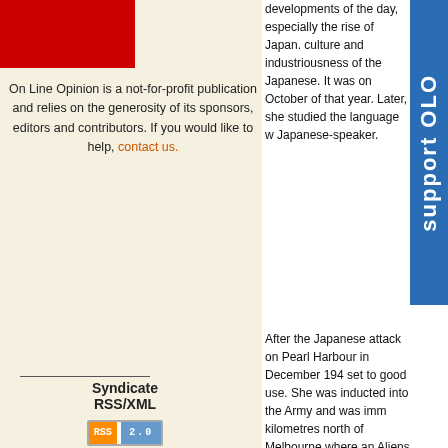[Figure (illustration): Red box logo area for On Line Opinion]
On Line Opinion is a not-for-profit publication and relies on the generosity of its sponsors, editors and contributors. If you would like to help, contact us.
Syndicate
RSS/XML
[Figure (logo): RSS 2.0 orange and blue badge]
developments of the day, especially the rise of Japan. culture and industriousness of the Japanese. It was on October of that year. Later, she studied the language w Japanese-speaker.
After the Japanese attack on Pearl Harbour in December 194 set to good use. She was inducted into the Army and was imm kilometres north of Melbourne where an Aliens Internment Ca Japanese Internment Camp, which held civilian families from other parts of the region. Of the one-thousand internees Mont that, "Compared to the Germans, the Japanese are coopera